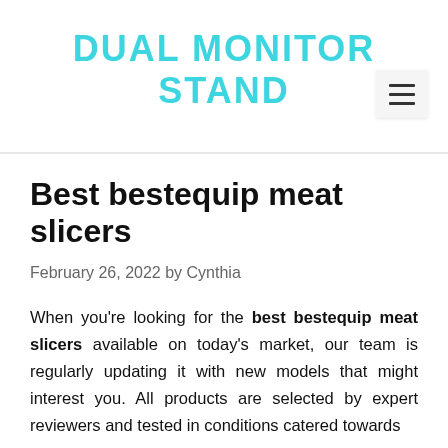DUAL MONITOR STAND
Best bestequip meat slicers
February 26, 2022 by Cynthia
When you're looking for the best bestequip meat slicers available on today's market, our team is regularly updating it with new models that might interest you. All products are selected by expert reviewers and tested in conditions catered towards